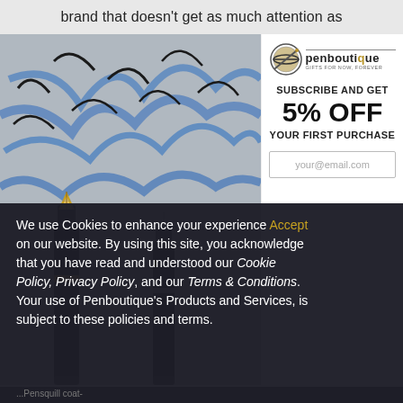brand that doesn't get as much attention as
[Figure (photo): Close-up photo of two fountain pen nibs with decorative blue and black artwork in background]
[Figure (logo): Pen Boutique logo with globe icon and text 'penboutique GIFTS FOR NOW, FOREVER']
SUBSCRIBE AND GET
5% OFF
YOUR FIRST PURCHASE
your@email.com
We use Cookies to enhance your experience Accept on our website. By using this site, you acknowledge that you have read and understood our Cookie Policy, Privacy Policy, and our Terms & Conditions. Your use of Penboutique's Products and Services, is subject to these policies and terms.
...Pensquill coat-